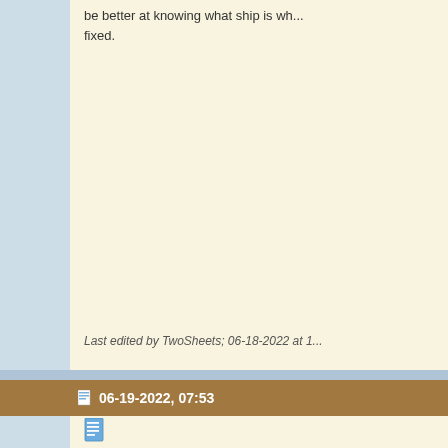be better at knowing what ship is wh... fixed.
Last edited by TwoSheets; 06-18-2022 at 1...
06-19-2022, 07:53
[Figure (photo): Portrait painting of a man in naval uniform with epaulettes]
Bligh
Admiral of the Fleet.
[Figure (illustration): A red and gold crown illustration]
Never mind the details Peter. The pi... encounter are enough. I always try t... the battles which I'm hosting. You ne... running the game. Others can take t... comments.
Rob.